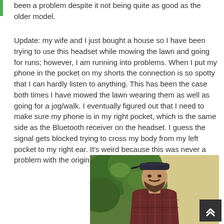been a problem despite it not being quite as good as the older model.
Update: my wife and I just bought a house so I have been trying to use this headset while mowing the lawn and going for runs; however, I am running into problems. When I put my phone in the pocket on my shorts the connection is so spotty that I can hardly listen to anything. This has been the case both times I have mowed the lawn wearing them as well as going for a jog/walk. I eventually figured out that I need to make sure my phone is in my right pocket, which is the same side as the Bluetooth receiver on the headset. I guess the signal gets blocked trying to cross my body from my left pocket to my right ear. It's weird because this was never a problem with the original headset from ISOtunes.
[Figure (photo): A bearded man wearing a dark cap and plaid shirt, photographed outdoors with green foliage in the background and a light yellow/tan background on the right side.]